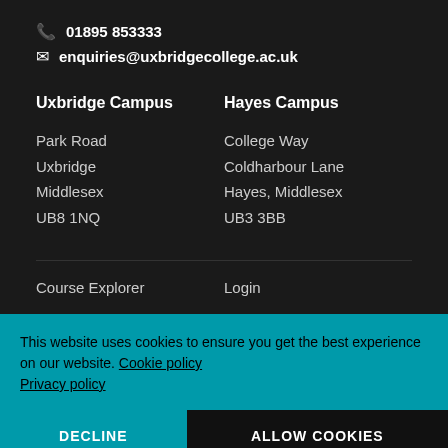01895 853333
enquiries@uxbridgecollege.ac.uk
Uxbridge Campus
Hayes Campus
Park Road
Uxbridge
Middlesex
UB8 1NQ
College Way
Coldharbour Lane
Hayes, Middlesex
UB3 3BB
Course Explorer
Login
This website uses cookies to ensure you get the best experience on our website. Cookie policy Privacy policy
DECLINE
ALLOW COOKIES